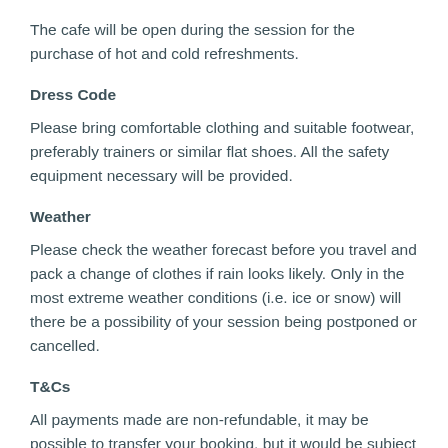The cafe will be open during the session for the purchase of hot and cold refreshments.
Dress Code
Please bring comfortable clothing and suitable footwear, preferably trainers or similar flat shoes. All the safety equipment necessary will be provided.
Weather
Please check the weather forecast before you travel and pack a change of clothes if rain looks likely. Only in the most extreme weather conditions (i.e. ice or snow) will there be a possibility of your session being postponed or cancelled.
T&Cs
All payments made are non-refundable, it may be possible to transfer your booking, but it would be subject to an